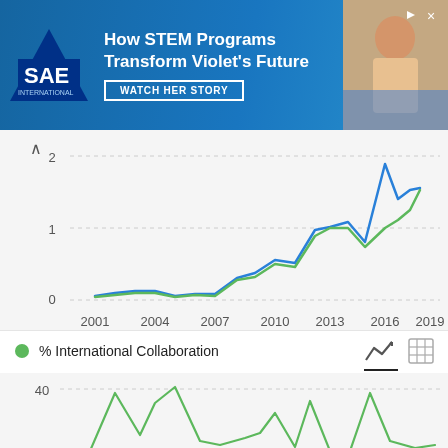[Figure (infographic): SAE advertisement banner: 'How STEM Programs Transform Violet's Future' with WATCH HER STORY button, SAE logo, and photo of child]
[Figure (line-chart): ]
% International Collaboration
[Figure (line-chart): % International Collaboration]